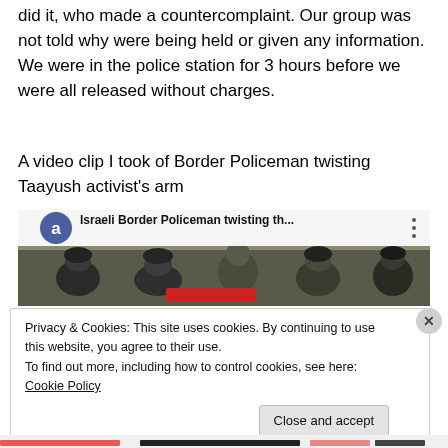did it, who made a countercomplaint. Our group was not told why were being held or given any information. We were in the police station for 3 hours before we were all released without charges.
A video clip I took of Border Policeman twisting Taayush activist's arm
[Figure (screenshot): Screenshot of a video thumbnail showing Israeli Border Policeman with title 'Israeli Border Policeman twisting th...' and a blue circle avatar with letter 'a'. Shows soldiers in helmets in an outdoor setting. A red redacted bar is visible.]
Privacy & Cookies: This site uses cookies. By continuing to use this website, you agree to their use.
To find out more, including how to control cookies, see here: Cookie Policy
Close and accept